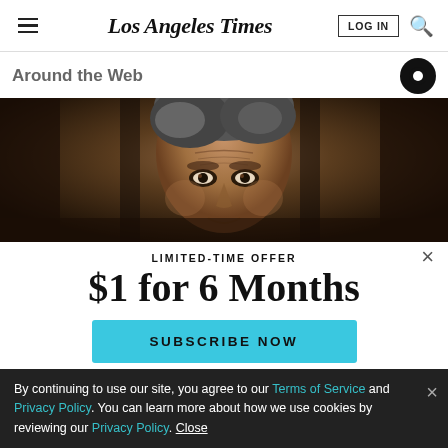Los Angeles Times
Around the Web
[Figure (photo): Close-up of an elderly man's face with gray hair, dark eyes, looking directly at camera, dark dramatic background]
LIMITED-TIME OFFER
$1 for 6 Months
SUBSCRIBE NOW
By continuing to use our site, you agree to our Terms of Service and Privacy Policy. You can learn more about how we use cookies by reviewing our Privacy Policy. Close